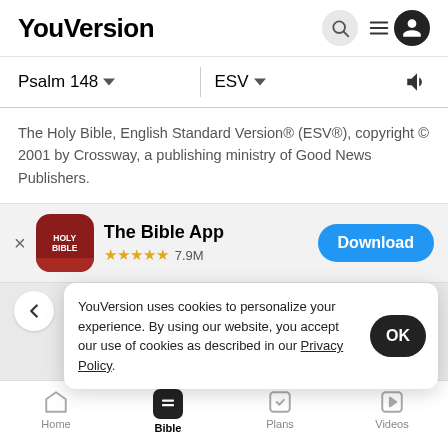YouVersion
Psalm 148  ESV
The Holy Bible, English Standard Version® (ESV®), copyright © 2001 by Crossway, a publishing ministry of Good News Publishers.
[Figure (screenshot): The Bible App banner with icon, 4.5 stars, 7.9M ratings, and a Download button]
YouVersion uses cookies to personalize your experience. By using our website, you accept our use of cookies as described in our Privacy Policy.
[Figure (screenshot): Bottom navigation bar with Home, Bible (active), Plans, and Videos tabs]